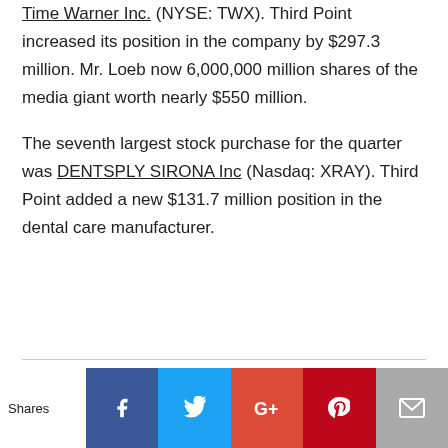Time Warner Inc. (NYSE: TWX). Third Point increased its position in the company by $297.3 million. Mr. Loeb now 6,000,000 million shares of the media giant worth nearly $550 million.
The seventh largest stock purchase for the quarter was DENTSPLY SIRONA Inc (Nasdaq: XRAY). Third Point added a new $131.7 million position in the dental care manufacturer.
Shares | Facebook | Twitter | Google+ | Pinterest | Email